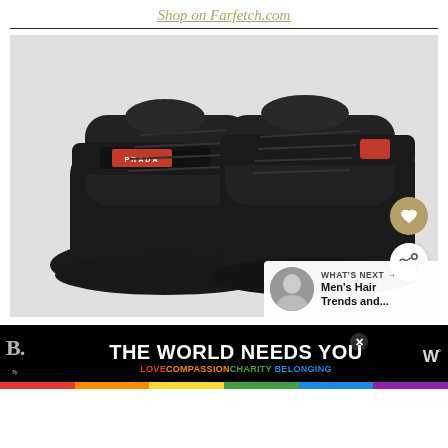Shop on Farfetch.com
[Figure (photo): Pair of black Prada high-top sneakers with velcro strap featuring PRADA logo in red, chunky sole, lace-up front, on a light gray background. Heart wishlist button (gold) and share button (white) visible on the right. 'WHAT'S NEXT → Men's Hair Trends and...' overlay at bottom right with a thumbnail photo of a man.]
WHAT'S NEXT → Men's Hair Trends and...
THE WORLD NEEDS YOU
LOVECOMPASSIONCHARITYBELONGING